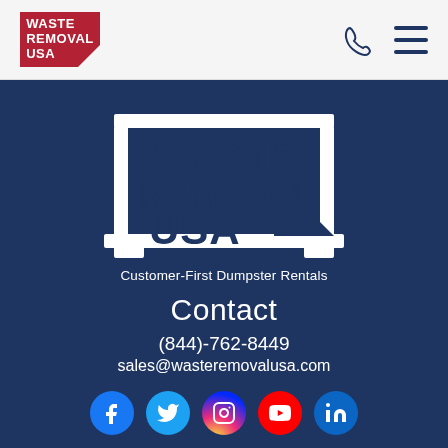[Figure (logo): Waste Removal USA logo in header - red background with white text WASTE REMOVAL USA and white triangle corner]
[Figure (logo): Large Waste Removal USA logo on dark blue background - white dumpster shape with dark blue WASTE REMOVAL USA text and dark blue triangle]
Customer-First Dumpster Rentals
Contact
(844)-762-8449
sales@wasteremovalusa.com
[Figure (other): Social media icons row: Facebook (blue circle with f), Twitter (light blue circle with bird), Instagram (pink/purple gradient circle with camera), YouTube (red circle with play button), LinkedIn (blue circle with in)]